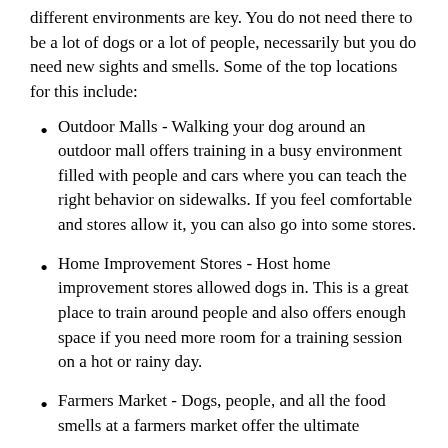different environments are key. You do not need there to be a lot of dogs or a lot of people, necessarily but you do need new sights and smells. Some of the top locations for this include:
Outdoor Malls - Walking your dog around an outdoor mall offers training in a busy environment filled with people and cars where you can teach the right behavior on sidewalks. If you feel comfortable and stores allow it, you can also go into some stores.
Home Improvement Stores - Host home improvement stores allowed dogs in. This is a great place to train around people and also offers enough space if you need more room for a training session on a hot or rainy day.
Farmers Market - Dogs, people, and all the food smells at a farmers market offer the ultimate